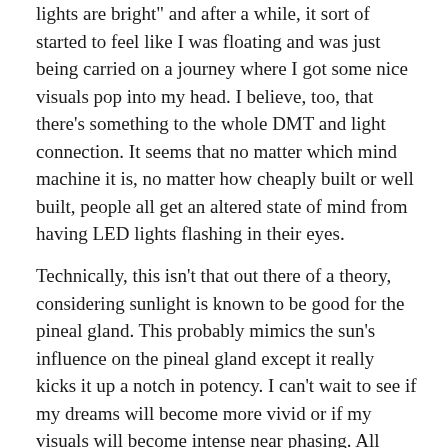lights are bright" and after a while, it sort of started to feel like I was floating and was just being carried on a journey where I got some nice visuals pop into my head. I believe, too, that there's something to the whole DMT and light connection. It seems that no matter which mind machine it is, no matter how cheaply built or well built, people all get an altered state of mind from having LED lights flashing in their eyes.
Technically, this isn't that out there of a theory, considering sunlight is known to be good for the pineal gland. This probably mimics the sun's influence on the pineal gland except it really kicks it up a notch in potency. I can't wait to see if my dreams will become more vivid or if my visuals will become intense near phasing. All those would be signs that DMT is indeed being released more than it regularly is. I've already been working on taking supplements and drinking lots of lemon water to chelate the pineal gland. My results with clarity of consciousness have tripled since before I